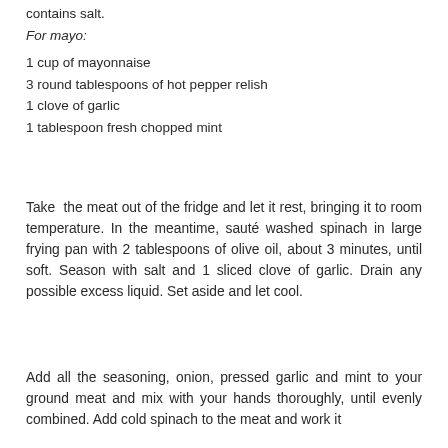contains salt.
For mayo:
1 cup of mayonnaise
3 round tablespoons of hot pepper relish
1 clove of garlic
1 tablespoon fresh chopped mint
Take  the meat out of the fridge and let it rest, bringing it to room temperature. In the meantime, sauté washed spinach in large frying pan with 2 tablespoons of olive oil, about 3 minutes, until soft. Season with salt and 1 sliced clove of garlic. Drain any possible excess liquid. Set aside and let cool.
Add all the seasoning, onion, pressed garlic and mint to your ground meat and mix with your hands thoroughly, until evenly combined. Add cold spinach to the meat and work it